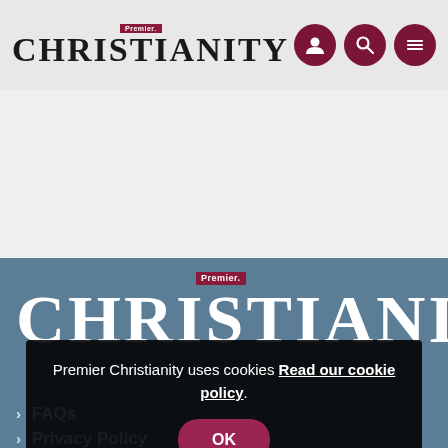Premier Christianity
[Figure (logo): Premier Christianity logo in header with user, search, and menu icons]
[Figure (logo): Premier Christianity large logo on blue background]
Premier Christianity uses cookies Read our cookie policy.
OK
FAQs
Privacy Policy